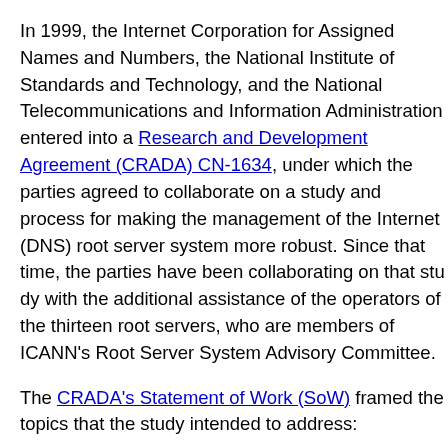In 1999, the Internet Corporation for Assigned Names and Numbers, the National Institute of Standards and Technology, and the National Telecommunications and Information Administration entered into a Cooperative Research and Development Agreement (CRADA) CN-1634, under which the parties agreed to collaborate on a study and process for making the management of the Internet (DNS) root server system more robust. Since that time, the parties have been collaborating on that study with the additional assistance of the operators of the thirteen root servers, who are members of ICANN's Root Server System Advisory Committee.
The CRADA's Statement of Work (SoW) framed the topics that the study intended to address:
"Operational requirements of root name servers, including hardware capacities, operating system and name server software versions, network connectivity, and physical environment."
"Examination of the security aspects of the root name servers and review of the number, location, and distribution of root servers considering the total system performance, robustness, and reliability."
"Development of operational procedures for the root system, including formalization of contractual relationships under which root servers throughout the world are operated."